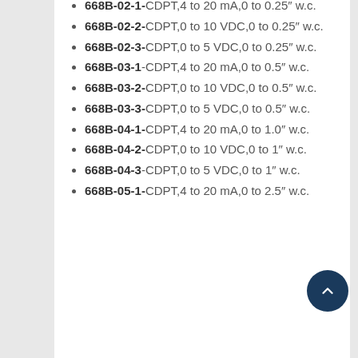668B-02-1-CDPT,4 to 20 mA,0 to 0.25″ w.c.
668B-02-2-CDPT,0 to 10 VDC,0 to 0.25″ w.c.
668B-02-3-CDPT,0 to 5 VDC,0 to 0.25″ w.c.
668B-03-1-CDPT,4 to 20 mA,0 to 0.5″ w.c.
668B-03-2-CDPT,0 to 10 VDC,0 to 0.5″ w.c.
668B-03-3-CDPT,0 to 5 VDC,0 to 0.5″ w.c.
668B-04-1-CDPT,4 to 20 mA,0 to 1.0″ w.c.
668B-04-2-CDPT,0 to 10 VDC,0 to 1″ w.c.
668B-04-3-CDPT,0 to 5 VDC,0 to 1″ w.c.
668B-05-1-CDPT,4 to 20 mA,0 to 2.5″ w.c.